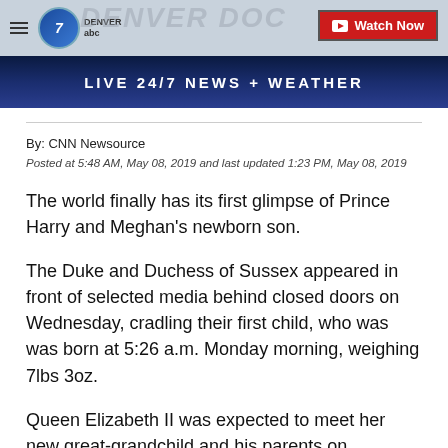[Figure (screenshot): Denver 7 news website header banner with logo, hamburger menu, 'Watch Now' button, and 'LIVE 24/7 NEWS + WEATHER' bar]
By: CNN Newsource
Posted at 5:48 AM, May 08, 2019 and last updated 1:23 PM, May 08, 2019
The world finally has its first glimpse of Prince Harry and Meghan's newborn son.
The Duke and Duchess of Sussex appeared in front of selected media behind closed doors on Wednesday, cradling their first child, who was was born at 5:26 a.m. Monday morning, weighing 7lbs 3oz.
Queen Elizabeth II was expected to meet her new great-grandchild and his parents on Wednesday,